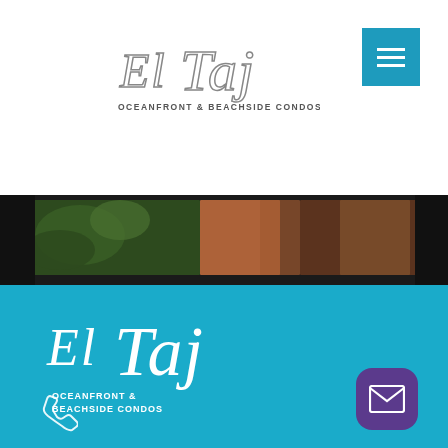[Figure (logo): El Taj Oceanfront & Beachside Condos logo — outlined hand-drawn style lettering in grey on white background]
[Figure (screenshot): Blue hamburger menu button (three horizontal white lines on teal/blue square)]
[Figure (photo): Narrow horizontal photo strip showing tropical interior scene with plants and warm wooden tones on dark background]
[Figure (logo): El Taj Oceanfront & Beachside Condos logo in white on teal background — large script lettering]
OCEANFRONT & BEACHSIDE CONDOS
[Figure (illustration): Purple rounded square email/envelope icon button at bottom right]
[Figure (illustration): White phone/telephone icon at bottom left on teal background]